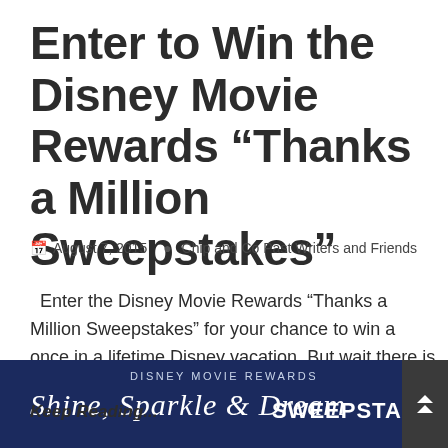Enter to Win the Disney Movie Rewards “Thanks a Million Sweepstakes”
August 7, 2015   Chip and Co Past Writers and Friends
Enter the Disney Movie Rewards “Thanks a Million Sweepstakes” for your chance to win a once in a lifetime Disney vacation. But wait there is more,
Keep Reading...
[Figure (other): Disney Movie Rewards banner with dark navy background, showing 'DISNEY MOVIE REWARDS' text and stylized script reading 'Shine, Sparkle & Dream SWEEPSTAKES']